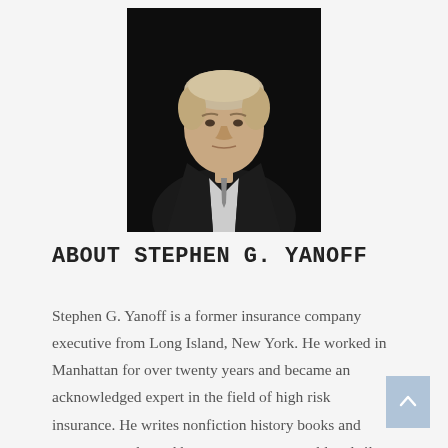[Figure (photo): Professional headshot of Stephen G. Yanoff, a middle-aged man in a dark suit with white shirt, against a black background]
ABOUT STEPHEN G. YANOFF
Stephen G. Yanoff is a former insurance company executive from Long Island, New York. He worked in Manhattan for over twenty years and became an acknowledged expert in the field of high risk insurance. He writes nonfiction history books and mystery novels, and has won numerous gold and silver medals. A partial list of his literary awards include the following: 2018 INDEPENDENT AUTHOR